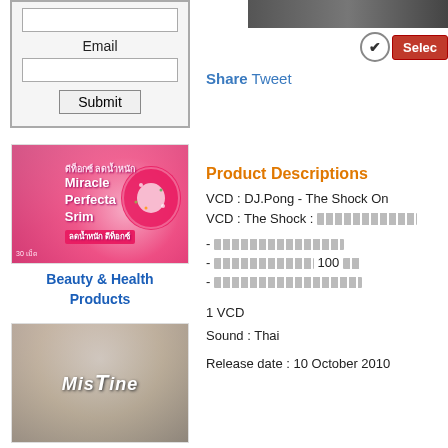[Figure (screenshot): Form with Email label, text input field, and Submit button inside a bordered box]
Email
[Figure (screenshot): Top right corner showing partial image and Select button with checkmark]
Share Tweet
[Figure (photo): Miracle Perfecta Srim product with pink donut image]
Beauty & Health Products
Product Descriptions
VCD : DJ.Pong - The Shock On
VCD : The Shock : ████████████
- ███████████████████
- ██████████████ 100 ██
- ████████████████████████
1 VCD
Sound : Thai
Release date : 10 October 2010
[Figure (photo): Mistine Products - woman with Mistine logo overlay]
Mistine Products
[Figure (screenshot): Bottom left partial product image]